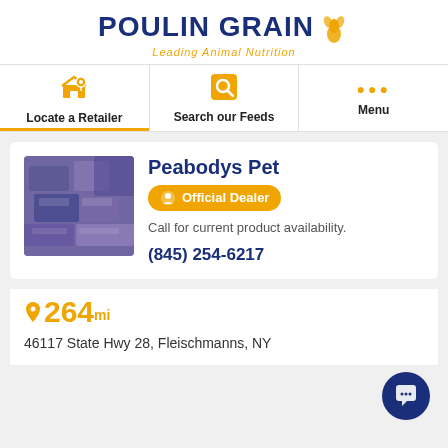[Figure (logo): Poulin Grain logo with wheat graphic and tagline 'Leading Animal Nutrition']
Locate a Retailer | Search our Feeds | Menu
[Figure (photo): Photo of stacked purple animal feed bags in a store]
Peabodys Pet
Official Dealer
Call for current product availability.
(845) 254-6217
264 mi
46117 State Hwy 28, Fleischmanns, NY